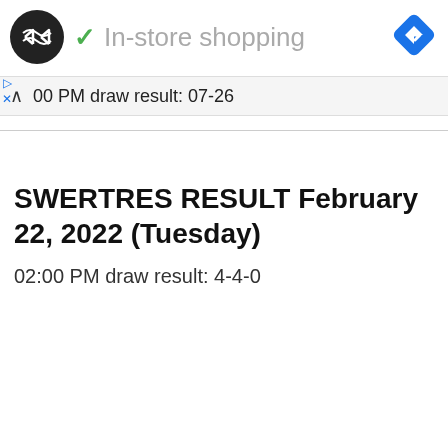[Figure (screenshot): Screenshot of a Google Maps or business listing interface showing a logo (black circle with double arrow icon), 'In-store shopping' label with green checkmark, and a blue diamond navigation icon in the top right.]
00 PM draw result: 07-26
SWERTRES RESULT February 22, 2022 (Tuesday)
02:00 PM draw result: 4-4-0